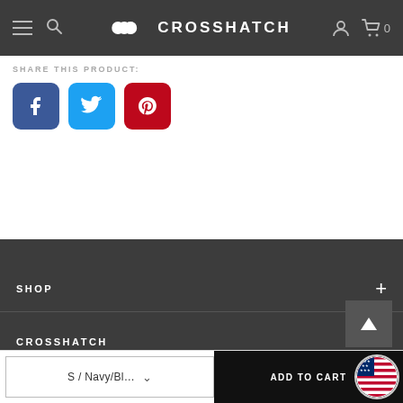CROSSHATCH – Navigation bar with hamburger menu, search, logo, account, cart (0)
SHARE THIS PRODUCT:
[Figure (infographic): Three social share buttons: Facebook (blue), Twitter (light blue), Pinterest (red) with respective icons]
SHOP
CROSSHATCH
SERVICE
S / Navy/Bl…  ADD TO CART (bottom bar with size selector dropdown and add to cart button)
[Figure (infographic): US flag circular badge in bottom right corner]